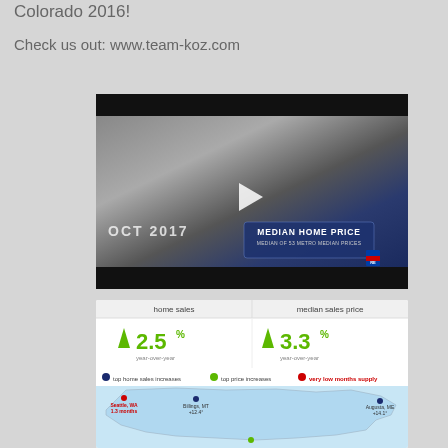Colorado 2016!
Check us out: www.team-koz.com
[Figure (screenshot): Video thumbnail showing 'MEDIAN HOME PRICE - MEDIAN OF 53 METRO MEDIAN PRICES' with OCT 2017 text and a play button. RE/MAX logo visible.]
[Figure (infographic): Infographic showing home sales up 2.5% year-over-year and median sales price up 3.3% year-over-year, with a US map showing top home sales increases, top price increases, and very low months supply cities including Seattle WA, Billings MT, and Augusta ME.]